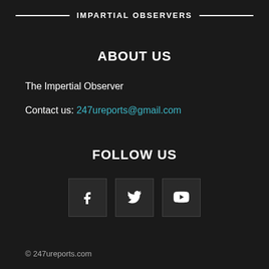IMPARTIAL OBSERVERS
ABOUT US
The Impertial Observer
Contact us: 247ureports@gmail.com
FOLLOW US
[Figure (infographic): Three social media icon boxes: Facebook (f), Twitter (bird), YouTube (play button)]
© 247ureports.com